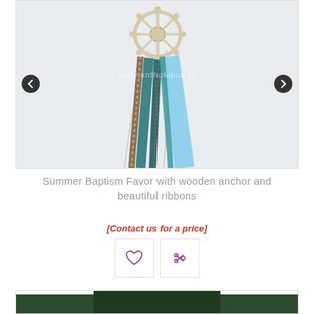[Figure (photo): Product image of a Summer Baptism Favor with a wooden ship wheel/anchor at top and colorful ribbons (blue, teal, brown patterned) hanging down. Watermark 'www.anthokipos.gr' visible. Navigation arrows on left and right sides.]
Summer Baptism Favor with wooden anchor and beautiful ribbons
[Contact us for a price]
[Figure (photo): Partial view of another product image at the bottom of the page, showing a dark green outdoor/garden background.]